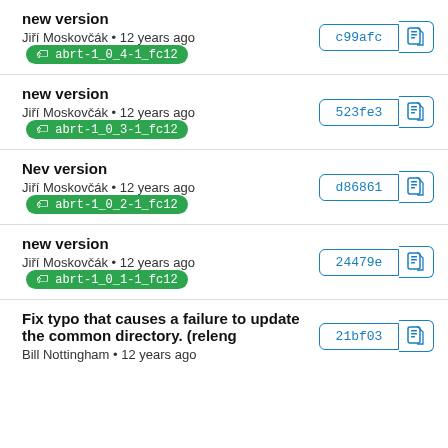new version
Jiří Moskovčák • 12 years ago  abrt-1_0_4-1_fc12
c99afc
new version
Jiří Moskovčák • 12 years ago  abrt-1_0_3-1_fc12
523fe3
Nev version
Jiří Moskovčák • 12 years ago  abrt-1_0_2-1_fc12
d86861
new version
Jiří Moskovčák • 12 years ago  abrt-1_0_1-1_fc12
24479e
Fix typo that causes a failure to update the common directory. (releng
Bill Nottingham • 12 years ago
21bf03